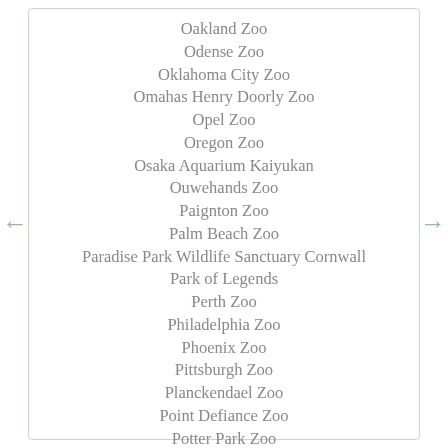Oakland Zoo
Odense Zoo
Oklahoma City Zoo
Omahas Henry Doorly Zoo
Opel Zoo
Oregon Zoo
Osaka Aquarium Kaiyukan
Ouwehands Zoo
Paignton Zoo
Palm Beach Zoo
Paradise Park Wildlife Sanctuary Cornwall
Park of Legends
Perth Zoo
Philadelphia Zoo
Phoenix Zoo
Pittsburgh Zoo
Planckendael Zoo
Point Defiance Zoo
Potter Park Zoo